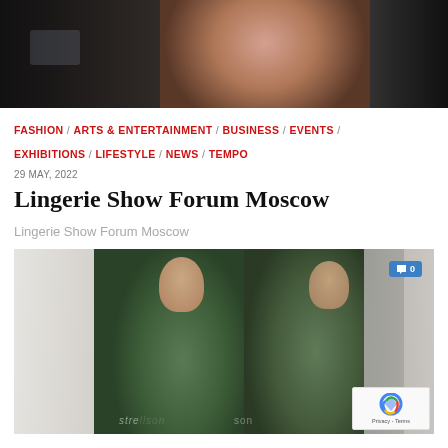[Figure (photo): Top banner photo of a lingerie show/fashion exhibition with models on display]
FASHION / ARTS & ENTERTAINMENT / BUSINESS / EVENTS / EXHIBITIONS / LIFESTYLE / NEWS / TEMPO
29 MAY, 2022
Lingerie Show Forum Moscow
Lingerie Show Forum Moscow
[Figure (photo): Photo of a woman and man wearing matching olive/dark green casual sportswear (Strellson brand) at the Lingerie Show Forum Moscow exhibition. A comment badge showing '0' comments is visible in the top right. A reCAPTCHA Privacy-Terms overlay appears in the bottom right corner.]